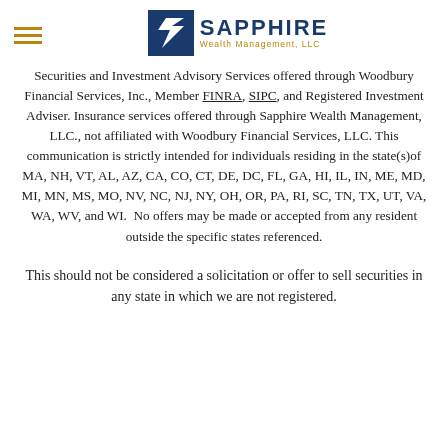Sapphire Wealth Management, LLC
Securities and Investment Advisory Services offered through Woodbury Financial Services, Inc., Member FINRA, SIPC, and Registered Investment Adviser. Insurance services offered through Sapphire Wealth Management, LLC., not affiliated with Woodbury Financial Services, LLC. This communication is strictly intended for individuals residing in the state(s)of MA, NH, VT, AL, AZ, CA, CO, CT, DE, DC, FL, GA, HI, IL, IN, ME, MD, MI, MN, MS, MO, NV, NC, NJ, NY, OH, OR, PA, RI, SC, TN, TX, UT, VA, WA, WV, and WI. No offers may be made or accepted from any resident outside the specific states referenced.
This should not be considered a solicitation or offer to sell securities in any state in which we are not registered.